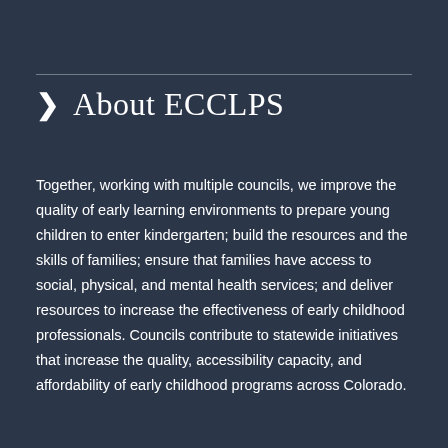About ECCLPS
Together, working with multiple councils, we improve the quality of early learning environments to prepare young children to enter kindergarten; build the resources and the skills of families; ensure that families have access to social, physical, and mental health services; and deliver resources to increase the effectiveness of early childhood professionals. Councils contribute to statewide initiatives that increase the quality, accessibility capacity, and affordability of early childhood programs across Colorado.